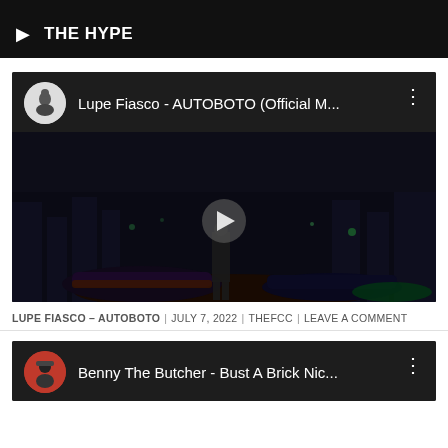THE HYPE
[Figure (screenshot): YouTube embedded video player showing 'Lupe Fiasco - AUTOBOTO (Official M...' with dark nighttime cityscape thumbnail, a figure standing in front of a car, play button overlay, channel avatar circle, and three-dot menu icon]
LUPE FIASCO – AUTOBOTO | JULY 7, 2022 | THEFCC | LEAVE A COMMENT
[Figure (screenshot): Partial YouTube embedded video player showing 'Benny The Butcher - Bust A Brick Nic...' with red avatar circle, partially visible]